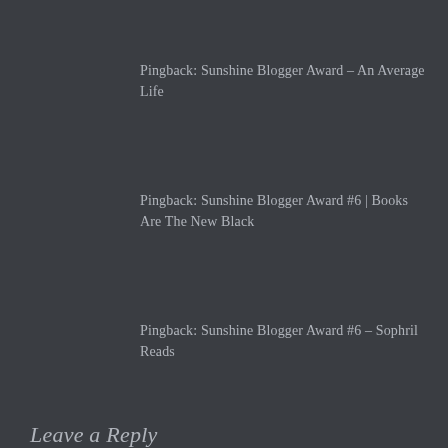Pingback: Sunshine Blogger Award – An Average Life
Pingback: Sunshine Blogger Award #6 | Books Are The New Black
Pingback: Sunshine Blogger Award #6 – Sophril Reads
Leave a Reply